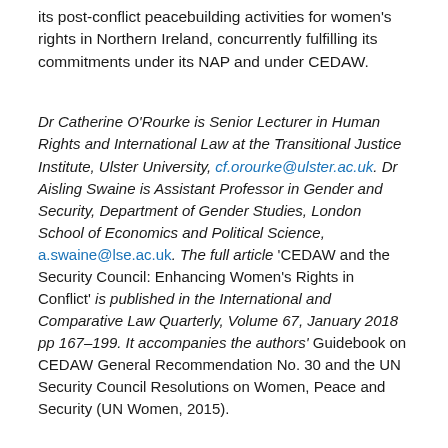its post-conflict peacebuilding activities for women's rights in Northern Ireland, concurrently fulfilling its commitments under its NAP and under CEDAW.
Dr Catherine O'Rourke is Senior Lecturer in Human Rights and International Law at the Transitional Justice Institute, Ulster University, cf.orourke@ulster.ac.uk. Dr Aisling Swaine is Assistant Professor in Gender and Security, Department of Gender Studies, London School of Economics and Political Science, a.swaine@lse.ac.uk. The full article 'CEDAW and the Security Council: Enhancing Women's Rights in Conflict' is published in the International and Comparative Law Quarterly, Volume 67, January 2018 pp 167–199. It accompanies the authors' Guidebook on CEDAW General Recommendation No. 30 and the UN Security Council Resolutions on Women, Peace and Security (UN Women, 2015).